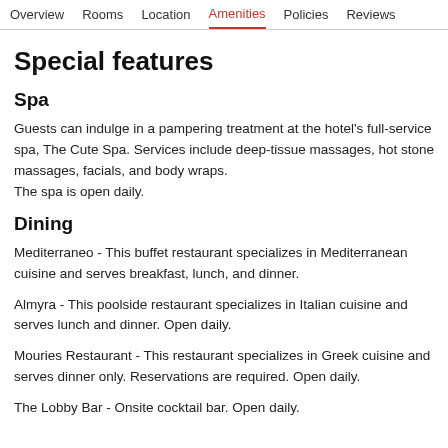Overview  Rooms  Location  Amenities  Policies  Reviews
Special features
Spa
Guests can indulge in a pampering treatment at the hotel's full-service spa, The Cute Spa. Services include deep-tissue massages, hot stone massages, facials, and body wraps.
The spa is open daily.
Dining
Mediterraneo - This buffet restaurant specializes in Mediterranean cuisine and serves breakfast, lunch, and dinner.
Almyra - This poolside restaurant specializes in Italian cuisine and serves lunch and dinner. Open daily.
Mouries Restaurant - This restaurant specializes in Greek cuisine and serves dinner only. Reservations are required. Open daily.
The Lobby Bar - Onsite cocktail bar. Open daily.